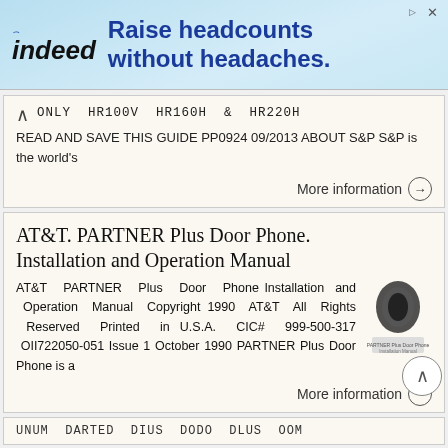[Figure (other): Indeed.com advertisement banner: 'Raise headcounts without headaches.']
ONLY HR100V HR160H & HR220H READ AND SAVE THIS GUIDE PP0924 09/2013 ABOUT S&P S&P is the world's
More information →
AT&T. PARTNER Plus Door Phone. Installation and Operation Manual
AT&T PARTNER Plus Door Phone Installation and Operation Manual Copyright 1990 AT&T All Rights Reserved Printed in U.S.A. CIC# 999-500-317 OII722050-051 Issue 1 October 1990 PARTNER Plus Door Phone is a
More information →
UNUM DARTED DIUS DODO DLUS OOM